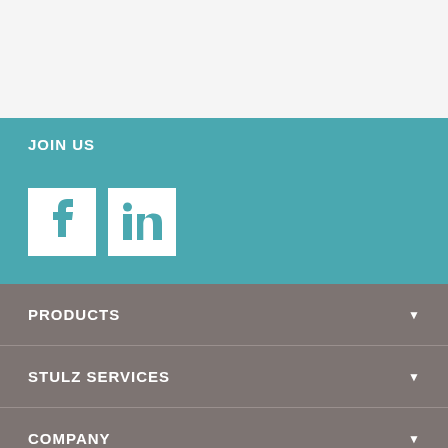JOIN US
[Figure (logo): Facebook and LinkedIn social media icons as white squares with teal icons]
PRODUCTS
STULZ SERVICES
COMPANY